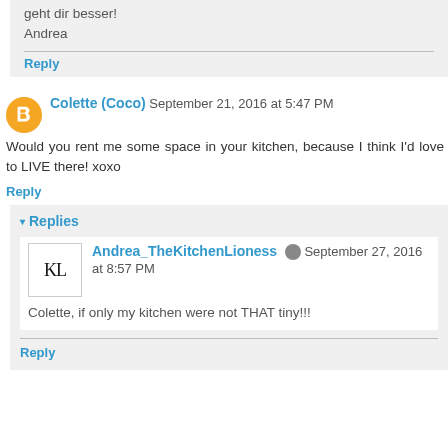geht dir besser!
Andrea
Reply
Colette (Coco)  September 21, 2016 at 5:47 PM
Would you rent me some space in your kitchen, because I think I'd love to LIVE there! xoxo
Reply
Replies
Andrea_TheKitchenLioness  September 27, 2016 at 8:57 PM
Colette, if only my kitchen were not THAT tiny!!!
Reply